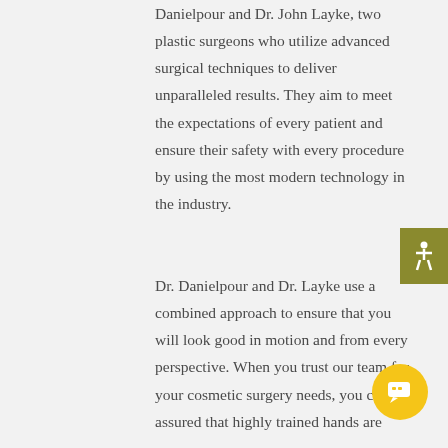Danielpour and Dr. John Layke, two plastic surgeons who utilize advanced surgical techniques to deliver unparalleled results. They aim to meet the expectations of every patient and ensure their safety with every procedure by using the most modern technology in the industry.
Dr. Danielpour and Dr. Layke use a combined approach to ensure that you will look good in motion and from every perspective. When you trust our team for your cosmetic surgery needs, you can be assured that highly trained hands are